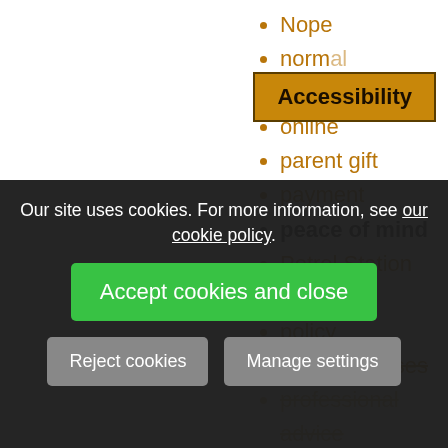Nope
normal
North
online
parent gift
payment
peace of mind
Petrol Station
phone
policy
price increases
professional advice
protection
quality
Accessibility
Our site uses cookies. For more information, see our cookie policy.
Accept cookies and close
Reject cookies
Manage settings